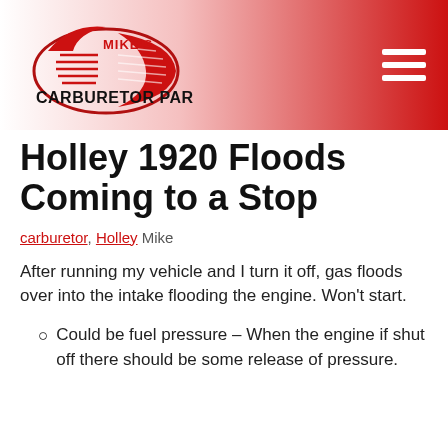[Figure (logo): Mike's Carburetor Parts logo with red swoosh oval and horizontal lines, text reads MIKE'S CARBURETOR PARTS in dark red/black]
Holley 1920 Floods Coming to a Stop
carburetor, Holley Mike
After running my vehicle and I turn it off, gas floods over into the intake flooding the engine. Won't start.
Could be fuel pressure – When the engine if shut off there should be some release of pressure.